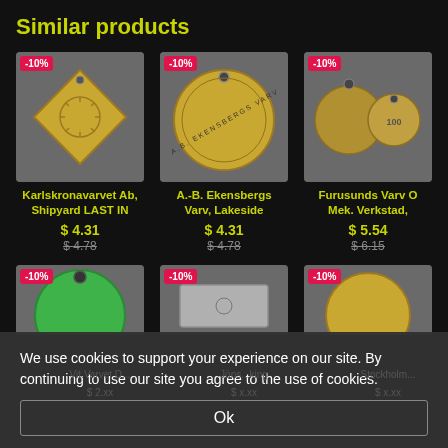Similar products
[Figure (photo): Diamond-shaped brass token with sunburst design, -10% discount badge]
[Figure (photo): Round brass token labeled A.B. EKENSBERGS VARV, -10% discount badge]
[Figure (photo): Two round brass coins/tokens, -10% discount badge]
Karlskronavarvet Ab, Shipyard LAST IN
$ 4.31
$ 4.78
A.-B. Ekensbergs Varv, Lakeside
$ 4.31
$ 4.78
Furusunds Varv O Mek. Verkstad,
$ 5.54
$ 6.15
[Figure (photo): Round green token/tag with hole, -10% discount badge]
[Figure (photo): Rectangular metal token/tag, -10% discount badge]
[Figure (photo): Round gold/brass coin, -10% discount badge]
We use cookies to support your experience on our site. By continuing to use our site you agree to the use of cookies.
Ok